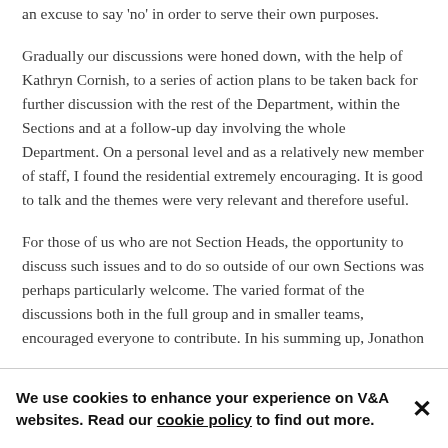an excuse to say 'no' in order to serve their own purposes.
Gradually our discussions were honed down, with the help of Kathryn Cornish, to a series of action plans to be taken back for further discussion with the rest of the Department, within the Sections and at a follow-up day involving the whole Department. On a personal level and as a relatively new member of staff, I found the residential extremely encouraging. It is good to talk and the themes were very relevant and therefore useful.
For those of us who are not Section Heads, the opportunity to discuss such issues and to do so outside of our own Sections was perhaps particularly welcome. The varied format of the discussions both in the full group and in smaller teams, encouraged everyone to contribute. In his summing up, Jonathon
We use cookies to enhance your experience on V&A websites. Read our cookie policy to find out more.